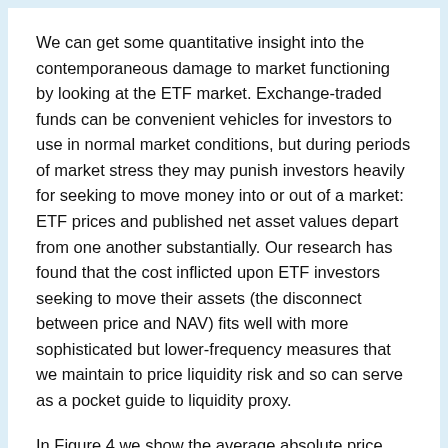We can get some quantitative insight into the contemporaneous damage to market functioning by looking at the ETF market. Exchange-traded funds can be convenient vehicles for investors to use in normal market conditions, but during periods of market stress they may punish investors heavily for seeking to move money into or out of a market: ETF prices and published net asset values depart from one another substantially. Our research has found that the cost inflicted upon ETF investors seeking to move their assets (the disconnect between price and NAV) fits well with more sophisticated but lower-frequency measures that we maintain to price liquidity risk and so can serve as a pocket guide to liquidity proxy.
In Figure 4 we show the average absolute price deviation from NAV for the three largest corporate bond fund ETFs since 2006 and the level of triple-B rated US corporate bond market spreads over government bonds. The degree